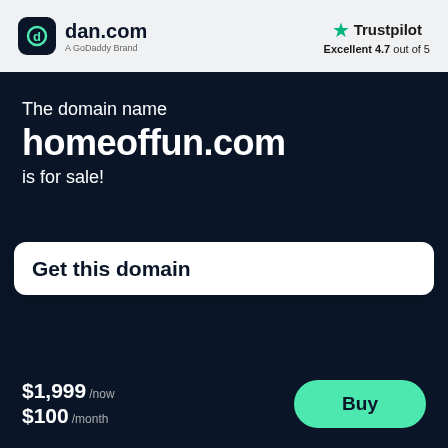[Figure (logo): dan.com logo with dark rounded square icon and text 'dan.com' and subtitle 'A GoDaddy Brand']
[Figure (logo): Trustpilot logo with green star and text 'Trustpilot' and rating 'Excellent 4.7 out of 5']
The domain name
homeoffun.com
is for sale!
Get this domain
$1,999 /now
$100 /month
Buy